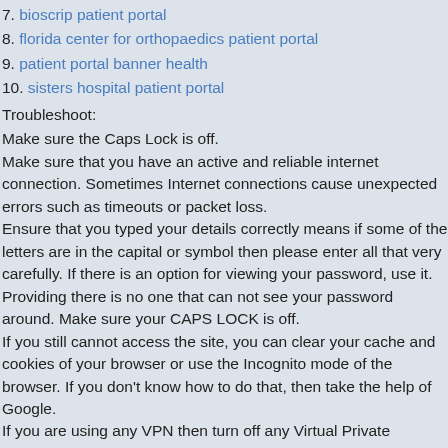7. bioscrip patient portal
8. florida center for orthopaedics patient portal
9. patient portal banner health
10. sisters hospital patient portal
Troubleshoot:
Make sure the Caps Lock is off.
Make sure that you have an active and reliable internet connection. Sometimes Internet connections cause unexpected errors such as timeouts or packet loss.
Ensure that you typed your details correctly means if some of the letters are in the capital or symbol then please enter all that very carefully. If there is an option for viewing your password, use it. Providing there is no one that can not see your password around. Make sure your CAPS LOCK is off.
If you still cannot access the site, you can clear your cache and cookies of your browser or use the Incognito mode of the browser. If you don't know how to do that, then take the help of Google.
If you are using any VPN then turn off any Virtual Private Network